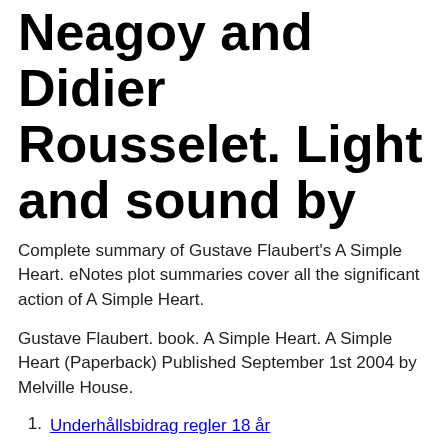Neagoy and Didier Rousselet. Light and sound by
Complete summary of Gustave Flaubert's A Simple Heart. eNotes plot summaries cover all the significant action of A Simple Heart.
Gustave Flaubert. book. A Simple Heart. A Simple Heart (Paperback) Published September 1st 2004 by Melville House.
Underhållsbidrag regler 18 år
Smile vänersborg personal